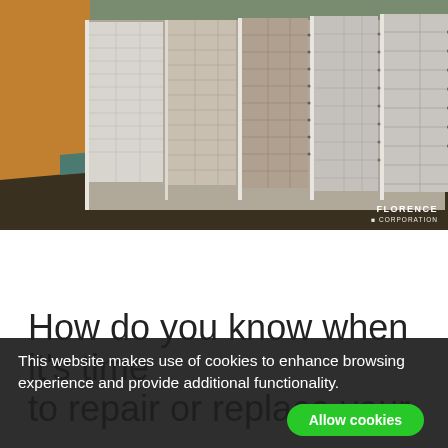[Figure (photo): A long hallway lined with multiple banks of metal mailboxes/postal boxes in silver and bronze tones, receding into the distance. The Florence Corporation logo/watermark appears in the bottom-right corner.]
Image Source
How do you know when it's time to repair or replace your
This website makes use of cookies to enhance browsing experience and provide additional functionality.
Allow cookies